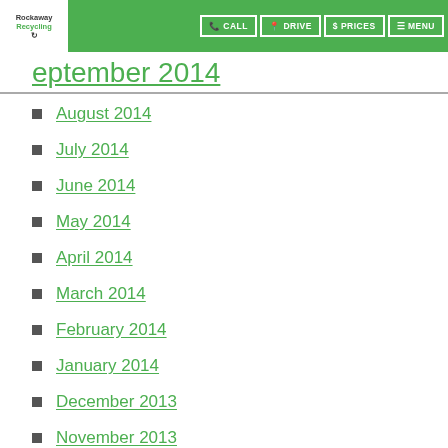Rockaway Recycling | CALL | DRIVE | PRICES | MENU
September 2014
August 2014
July 2014
June 2014
May 2014
April 2014
March 2014
February 2014
January 2014
December 2013
November 2013
October 2013